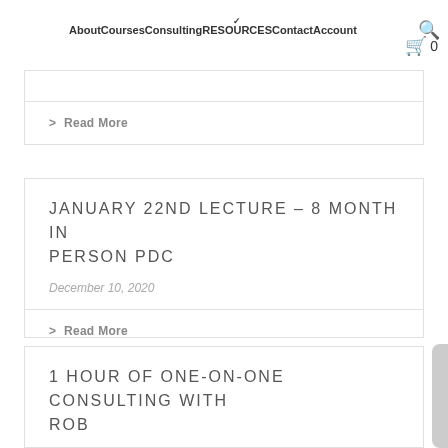About Courses Consulting RESOURCES Contact Account
> Read More
JANUARY 22ND LECTURE – 8 MONTH IN PERSON PDC
December 10, 2020
> Read More
1 HOUR OF ONE-ON-ONE CONSULTING WITH ROB
June 11, 2020